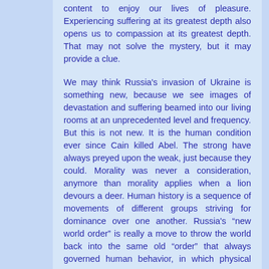content to enjoy our lives of pleasure. Experiencing suffering at its greatest depth also opens us to compassion at its greatest depth. That may not solve the mystery, but it may provide a clue.
We may think Russia's invasion of Ukraine is something new, because we see images of devastation and suffering beamed into our living rooms at an unprecedented level and frequency. But this is not new. It is the human condition ever since Cain killed Abel. The strong have always preyed upon the weak, just because they could. Morality was never a consideration, anymore than morality applies when a lion devours a deer. Human history is a sequence of movements of different groups striving for dominance over one another. Russia's “new world order” is really a move to throw the world back into the same old “order” that always governed human behavior, in which physical power